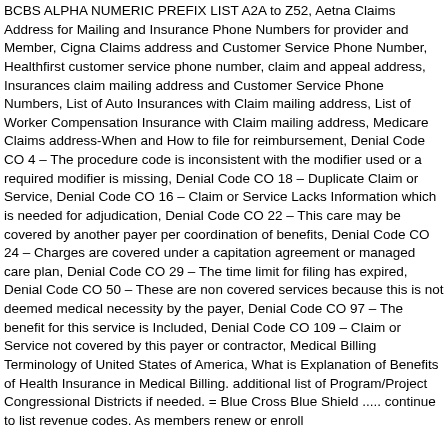BCBS ALPHA NUMERIC PREFIX LIST A2A to Z52, Aetna Claims Address for Mailing and Insurance Phone Numbers for provider and Member, Cigna Claims address and Customer Service Phone Number, Healthfirst customer service phone number, claim and appeal address, Insurances claim mailing address and Customer Service Phone Numbers, List of Auto Insurances with Claim mailing address, List of Worker Compensation Insurance with Claim mailing address, Medicare Claims address-When and How to file for reimbursement, Denial Code CO 4 – The procedure code is inconsistent with the modifier used or a required modifier is missing, Denial Code CO 18 – Duplicate Claim or Service, Denial Code CO 16 – Claim or Service Lacks Information which is needed for adjudication, Denial Code CO 22 – This care may be covered by another payer per coordination of benefits, Denial Code CO 24 – Charges are covered under a capitation agreement or managed care plan, Denial Code CO 29 – The time limit for filing has expired, Denial Code CO 50 – These are non covered services because this is not deemed medical necessity by the payer, Denial Code CO 97 – The benefit for this service is Included, Denial Code CO 109 – Claim or Service not covered by this payer or contractor, Medical Billing Terminology of United States of America, What is Explanation of Benefits of Health Insurance in Medical Billing. additional list of Program/Project Congressional Districts if needed. = Blue Cross Blue Shield ..... continue to list revenue codes. As members renew or enroll